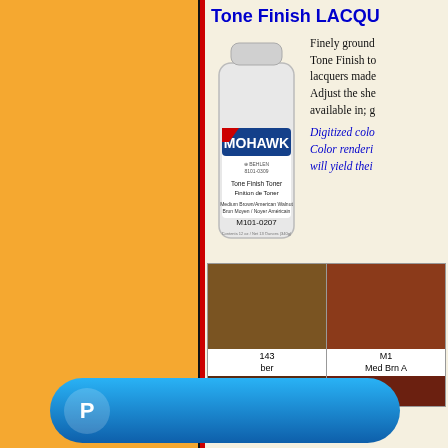Tone Finish LACQU...
[Figure (photo): Mohawk brand aerosol spray can labeled 'Tone Finish Toner / Finition de Toner', product M101-0207, Medium Brown/American Walnut]
Finely ground... Tone Finish to... lacquers made... Adjust the she... available in; g...
Digitized colo... Color renderi... will yield thei...
| M143 ...ber | M1... Med Brn A... |
[Figure (other): PayPal payment button overlay]